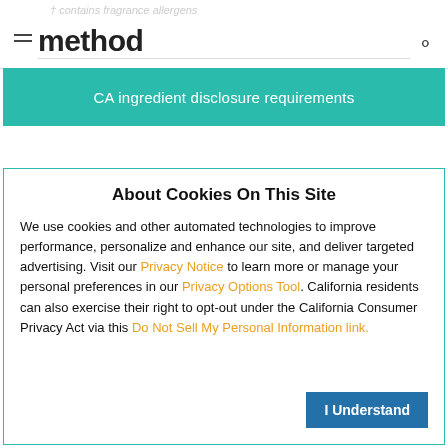† contains fragrance allergens
method
[Figure (screenshot): Teal banner with white text: CA ingredient disclosure requirements]
About Cookies On This Site
We use cookies and other automated technologies to improve performance, personalize and enhance our site, and deliver targeted advertising. Visit our Privacy Notice to learn more or manage your personal preferences in our Privacy Options Tool. California residents can also exercise their right to opt-out under the California Consumer Privacy Act via this Do Not Sell My Personal Information link.